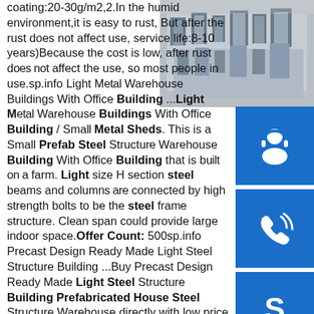[Figure (photo): Stack of galvanized steel C-channel and hollow section profiles viewed from the end, showing cross-sections]
[Figure (infographic): Blue icon box with white headset/customer-service icon]
[Figure (infographic): Blue icon box with white telephone/call icon]
[Figure (infographic): Blue icon box with white Skype icon]
coating:20-30g/m2,2.In the humid environment,it is easy to rust, But after the rust does not affect use, service life:8-10 years)Because the cost is low, after rust does not affect the use, so most people in use.sp.info Light Metal Warehouse Buildings With Office Building ...Light Metal Warehouse Buildings With Office Building / Small Metal Sheds. This is a Small Prefab Steel Structure Warehouse Building With Office Building that is built on a farm. Light size H section steel beams and columns are connected by high strength bolts to be the steel frame structure. Clean span could provide large indoor space.Offer Count: 500sp.info Precast Design Ready Made Light Steel Structure Building ...Buy Precast Design Ready Made Light Steel Structure Building Prefabricated House Steel Structure Warehouse directly with low price and high quality. Phone : 0769-28826212 E-mail : ...sp.info Lightweight Steel Frame Building